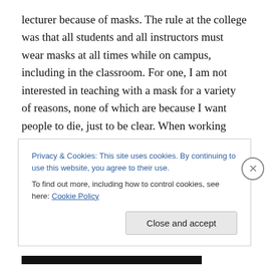lecturer because of masks. The rule at the college was that all students and all instructors must wear masks at all times while on campus, including in the classroom. For one, I am not interested in teaching with a mask for a variety of reasons, none of which are because I want people to die, just to be clear. When working with a majority of “at risk” students, students who have fewer academic skills and often very little family and peer support, the relationship I develop with the student is of vital importance. I need to create trust, respect, and commraderie if I expect to motivate students to perform
Privacy & Cookies: This site uses cookies. By continuing to use this website, you agree to their use.
To find out more, including how to control cookies, see here: Cookie Policy